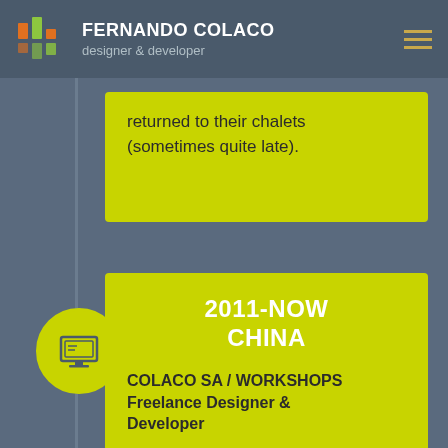FERNANDO COLACO designer & developer
returned to their chalets (sometimes quite late).
2011-NOW CHINA
COLACO SA / WORKSHOPS Freelance Designer & Developer
During the "nomad geek" during the previous 3 years, it seemed